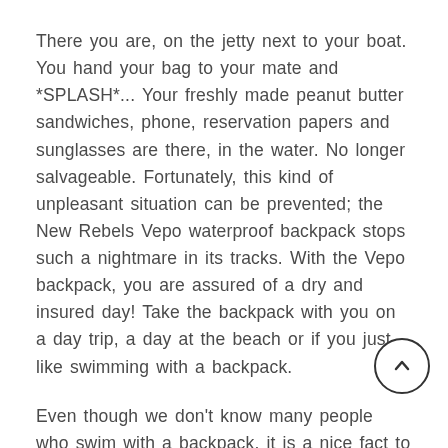There you are, on the jetty next to your boat. You hand your bag to your mate and *SPLASH*... Your freshly made peanut butter sandwiches, phone, reservation papers and sunglasses are there, in the water. No longer salvageable. Fortunately, this kind of unpleasant situation can be prevented; the New Rebels Vepo waterproof backpack stops such a nightmare in its tracks. With the Vepo backpack, you are assured of a dry and insured day! Take the backpack with you on a day trip, a day at the beach or if you just like swimming with a backpack.
Even though we don't know many people who swim with a backpack, it is a nice fact to tell that this is possible up to a certain depth. The backpack is completely waterproof, right up to the zip. Your bag can go up to 90% under water, as long as you zip up the top. The zips are protected with a waterproof shield so that no water can get between them. The bag can be up to 3/4th under water, so the main compartment is guaranteed to stay super dry. So you can cycle through a downpour and sail happily through the